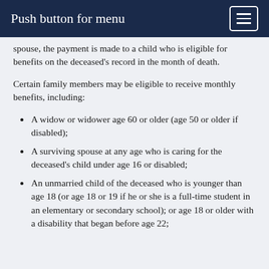Push button for menu
spouse, the payment is made to a child who is eligible for benefits on the deceased's record in the month of death.
Certain family members may be eligible to receive monthly benefits, including:
A widow or widower age 60 or older (age 50 or older if disabled);
A surviving spouse at any age who is caring for the deceased's child under age 16 or disabled;
An unmarried child of the deceased who is younger than age 18 (or age 18 or 19 if he or she is a full-time student in an elementary or secondary school); or age 18 or older with a disability that began before age 22;